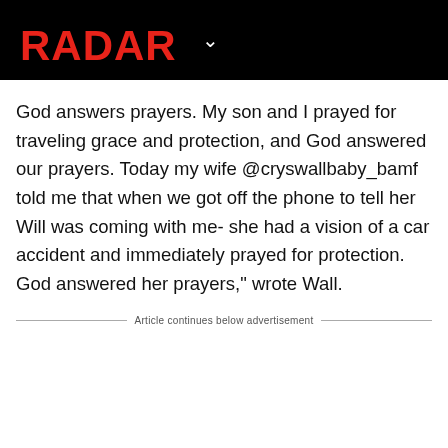[Figure (logo): RADAR logo in red bold text on black background with a chevron/dropdown arrow]
God answers prayers. My son and I prayed for traveling grace and protection, and God answered our prayers. Today my wife @cryswallbaby_bamf told me that when we got off the phone to tell her Will was coming with me- she had a vision of a car accident and immediately prayed for protection. God answered her prayers," wrote Wall.
Article continues below advertisement